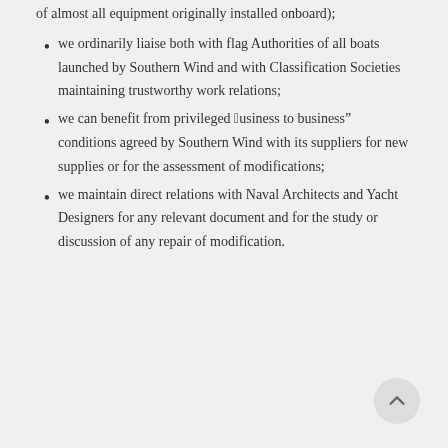of almost all equipment originally installed onboard);
we ordinarily liaise both with flag Authorities of all boats launched by Southern Wind and with Classification Societies maintaining trustworthy work relations;
we can benefit from privileged “business to business” conditions agreed by Southern Wind with its suppliers for new supplies or for the assessment of modifications;
we maintain direct relations with Naval Architects and Yacht Designers for any relevant document and for the study or discussion of any repair of modification.